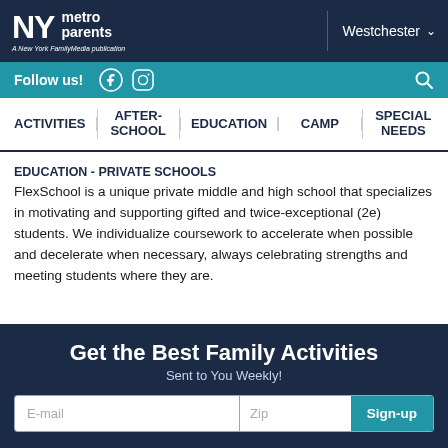NY metro parents | A New York FamilyMedia publication | Westchester
Follow us! [Facebook] [Instagram] [Search]
ACTIVITIES | AFTER-SCHOOL | EDUCATION | CAMP | SPECIAL NEEDS
EDUCATION - PRIVATE SCHOOLS
FlexSchool is a unique private middle and high school that specializes in motivating and supporting gifted and twice-exceptional (2e) students. We individualize coursework to accelerate when possible and decelerate when necessary, always celebrating strengths and meeting students where they are.
Get the Best Family Activities
Sent to You Weekly!
[E-mail] [Zip] [Sign-up]